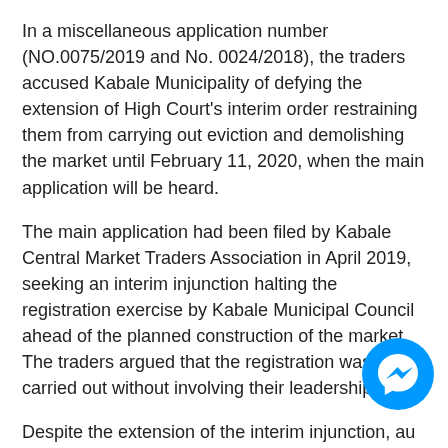In a miscellaneous application number (NO.0075/2019 and No. 0024/2018), the traders accused Kabale Municipality of defying the extension of High Court's interim order restraining them from carrying out eviction and demolishing the market until February 11, 2020, when the main application will be heard.
The main application had been filed by Kabale Central Market Traders Association in April 2019, seeking an interim injunction halting the registration exercise by Kabale Municipal Council ahead of the planned construction of the market. The traders argued that the registration was being carried out without involving their leadership.
Despite the extension of the interim injunction, au led by the Municipality Town Clerk Joseph Bagonza Monday and the Mayor, Emmanuel Sentaro Byamugisha
[Figure (logo): Facebook Messenger chat icon — blue circle with white lightning-bolt messenger logo]